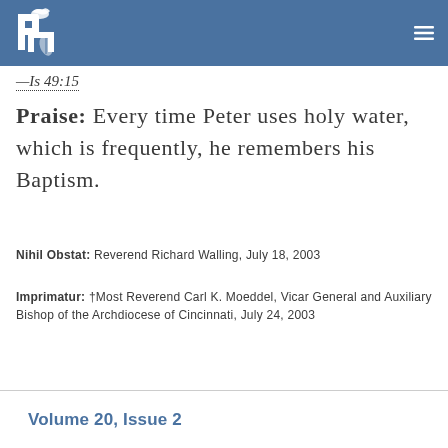[Figure (logo): PM logo with dove and leaf on blue header bar, with hamburger menu icon]
—Is 49:15
Praise:  Every time Peter uses holy water, which is frequently, he remembers his Baptism.
Nihil Obstat:  Reverend Richard Walling, July 18, 2003
Imprimatur:  †Most Reverend Carl K. Moeddel, Vicar General and Auxiliary Bishop of the Archdiocese of Cincinnati, July 24, 2003
Volume 20, Issue 2